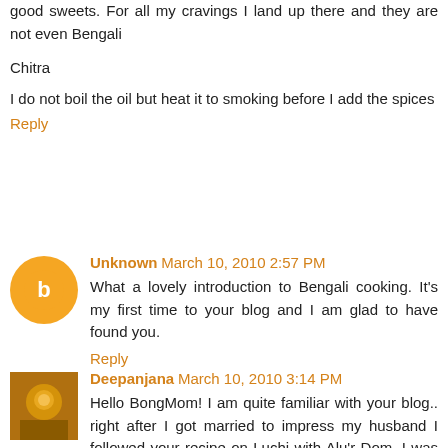good sweets. For all my cravings I land up there and they are not even Bengali
Chitra
I do not boil the oil but heat it to smoking before I add the spices
Reply
Unknown  March 10, 2010 2:57 PM
What a lovely introduction to Bengali cooking. It's my first time to your blog and I am glad to have found you.
Reply
Deepanjana  March 10, 2010 3:14 PM
Hello BongMom! I am quite familiar with your blog.. right after I got married to impress my husband I followed your recipe on Luchi with Alu'r Dom, I was not too much into blogging so refrained from my comments! Needless to say